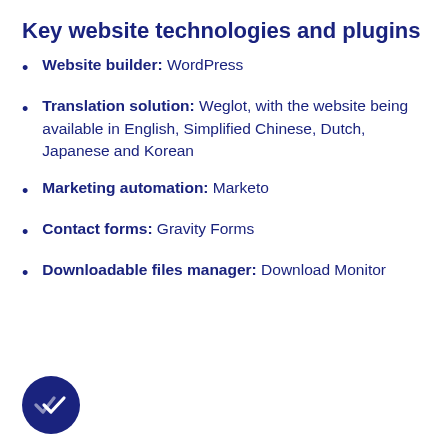Key website technologies and plugins
Website builder: WordPress
Translation solution: Weglot, with the website being available in English, Simplified Chinese, Dutch, Japanese and Korean
Marketing automation: Marketo
Contact forms: Gravity Forms
Downloadable files manager: Download Monitor
[Figure (illustration): Dark navy circular icon with a double checkmark/tick symbol inside]